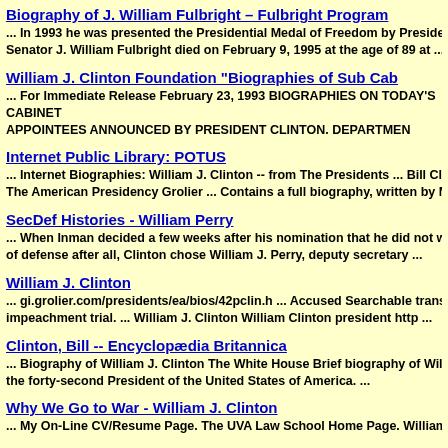Biography of J. William Fulbright – Fulbright Program
... In 1993 he was presented the Presidential Medal of Freedom by President ... Senator J. William Fulbright died on February 9, 1995 at the age of 89 at ...
William J. Clinton Foundation "Biographies of Sub Cab
... For Immediate Release February 23, 1993 BIOGRAPHIES ON TODAY'S CABINET
APPOINTEES ANNOUNCED BY PRESIDENT CLINTON. DEPARTMEN
Internet Public Library: POTUS
... Internet Biographies: William J. Clinton -- from The Presidents ... Bill Cl The American Presidency Grolier ... Contains a full biography, written by M...
SecDef Histories - William Perry
... When Inman decided a few weeks after his nomination that he did not wa... of defense after all, Clinton chose William J. Perry, deputy secretary ...
William J. Clinton
... gi.grolier.com/presidents/ea/bios/42pclin.h ... Accused Searchable transcri... impeachment trial. ... William J. Clinton William Clinton president http ...
Clinton, Bill -- Encyclopædia Britannica
... Biography of William J. Clinton The White House Brief biography of Wil... the forty-second President of the United States of America. ...
Why We Go to War - William J. Clinton
... My On-Line CV/Resume Page. The UVA Law School Home Page. William